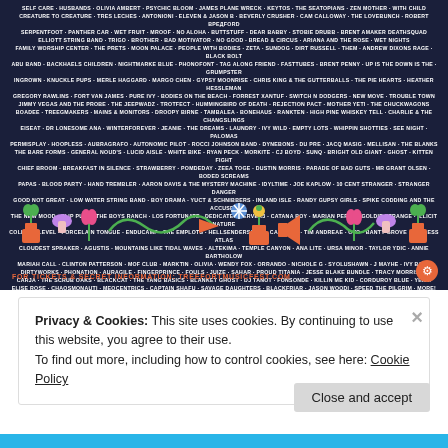[Figure (other): Treefort Music Festival promotional banner with dark navy background showing artist lineup text in white and decorative plant/music icons in green, orange, pink and purple, with ticket info at bottom]
Privacy & Cookies: This site uses cookies. By continuing to use this website, you agree to their use.
To find out more, including how to control cookies, see here: Cookie Policy
Close and accept